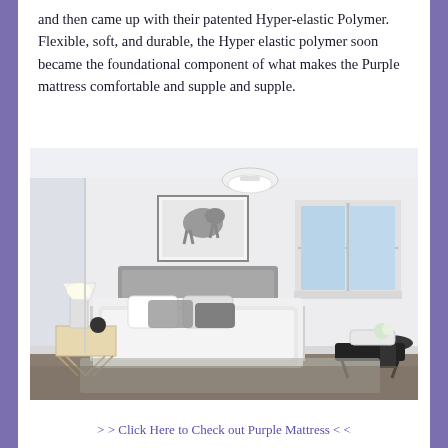and then came up with their patented Hyper-elastic Polymer. Flexible, soft, and durable, the Hyper elastic polymer soon became the foundational component of what makes the Purple mattress comfortable and supple and supple.
[Figure (photo): A bright, minimalist bedroom with a large bed covered in white/grey bedding and pillows, a grey upholstered headboard, a framed horse artwork on the wall, a white table lamp on a side table, a window with natural light, and a black bench with a round side table in the corner.]
> > Click Here to Check out Purple Mattress < <